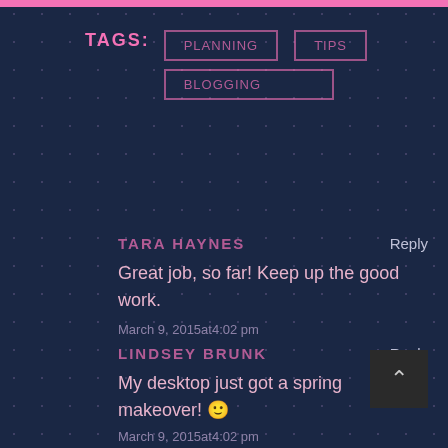TAGS: PLANNING  TIPS  BLOGGING
TARA HAYNES  Reply
Great job, so far! Keep up the good work.
March 9, 2015at4:02 pm
LINDSEY BRUNK  Reply
My desktop just got a spring makeover! 🙂
March 9, 2015at4:02 pm